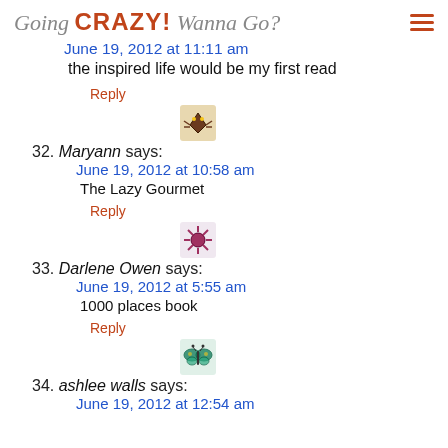Going CRAZY! Wanna Go?
June 19, 2012 at 11:11 am
the inspired life would be my first read
Reply
32. Maryann says:
June 19, 2012 at 10:58 am
The Lazy Gourmet
Reply
33. Darlene Owen says:
June 19, 2012 at 5:55 am
1000 places book
Reply
34. ashlee walls says:
June 19, 2012 at 12:54 am